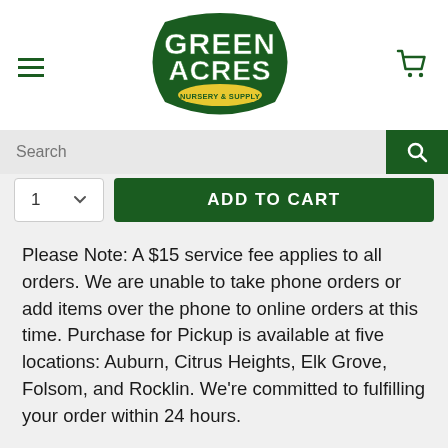[Figure (logo): Green Acres Nursery & Supply logo in dark green and yellow]
Search
1  ADD TO CART
Please Note: A $15 service fee applies to all orders. We are unable to take phone orders or add items over the phone to online orders at this time. Purchase for Pickup is available at five locations: Auburn, Citrus Heights, Elk Grove, Folsom, and Rocklin. We're committed to fulfilling your order within 24 hours.
In spring, vibrant magenta, fringed flowers adorn ornate evergreen shrub framed by dark purple foliage. Use as hedge or